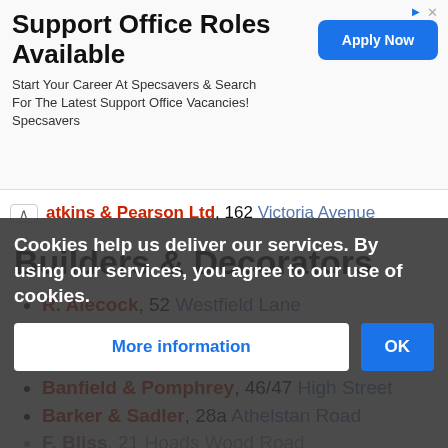[Figure (other): Advertisement banner: 'Support Office Roles Available' for Specsavers with 'Apply Now' button]
atkins & Pearson Ltd, 162 Victoria Avenue
Builders & Decorators
R. Alecock, 52 Westfield Lane
Gordon V. Apps, 417 Battle Road
Baldwin & Duck, 15 North Street
Banfield & Pomphrey, 46/47 High Street
Barker & Sadler, 28a Athelstan Road
F. Bliss, 21 Hoads Wood Road
Wm Arthur Bridger, 89 Ashburnham Road
Wm Arthur Bridger, 315 Old London Road
T. Burgess, ...
T. Burgess & Son, Salisbury Yard, ...
Cookies help us deliver our services. By using our services, you agree to our use of cookies.